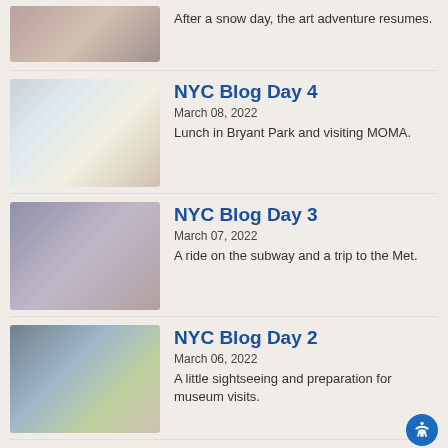[Figure (photo): Partial top photo of a museum interior with people]
After a snow day, the art adventure resumes.
[Figure (photo): Person standing in front of Campbell's Soup cans display at MOMA]
NYC Blog Day 4
March 08, 2022
Lunch in Bryant Park and visiting MOMA.
[Figure (photo): People looking at large art pieces at the Met museum]
NYC Blog Day 3
March 07, 2022
A ride on the subway and a trip to the Met.
[Figure (photo): Children looking out a window at NYC cityscape]
NYC Blog Day 2
March 06, 2022
A little sightseeing and preparation for museum visits.
[Figure (photo): Partial photo of dark interior space]
NYC Blog Day 1